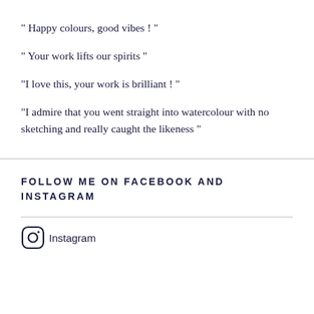" Happy colours,  good vibes ! "
" Your work lifts our spirits "
"I love  this, your work is brilliant ! "
"I admire that you went straight into watercolour with no sketching and really caught the likeness "
FOLLOW ME ON FACEBOOK AND INSTAGRAM
Instagram